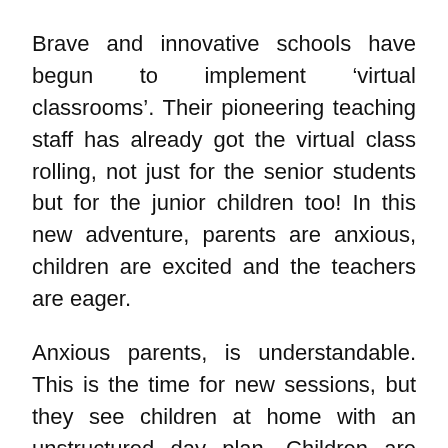Brave and innovative schools have begun to implement 'virtual classrooms'. Their pioneering teaching staff has already got the virtual class rolling, not just for the senior students but for the junior children too! In this new adventure, parents are anxious, children are excited and the teachers are eager.
Anxious parents, is understandable. This is the time for new sessions, but they see children at home with an unstructured day plan. Children are excited because they are virtually hanging out with their teachers and parents are not raising eyebrows over excessive screen time. Teachers were away from their young learners. New dynamics have kindled some hope of interacting with the bubbly souls, albeit remotely.
In these trying times, parents are looking up to